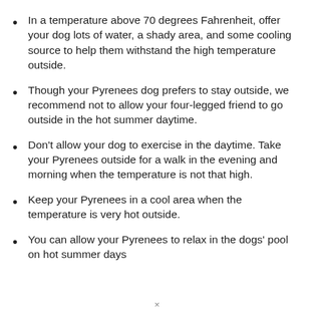In a temperature above 70 degrees Fahrenheit, offer your dog lots of water, a shady area, and some cooling source to help them withstand the high temperature outside.
Though your Pyrenees dog prefers to stay outside, we recommend not to allow your four-legged friend to go outside in the hot summer daytime.
Don't allow your dog to exercise in the daytime. Take your Pyrenees outside for a walk in the evening and morning when the temperature is not that high.
Keep your Pyrenees in a cool area when the temperature is very hot outside.
You can allow your Pyrenees to relax in the dogs' pool on hot summer days